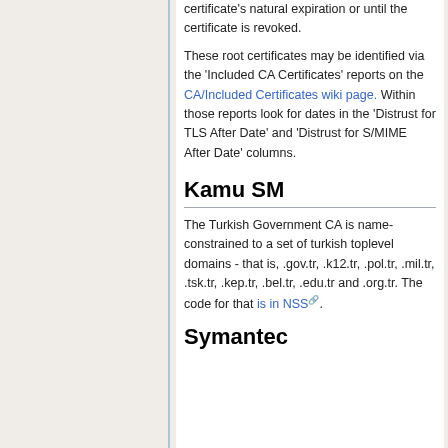certificate's natural expiration or until the certificate is revoked.
These root certificates may be identified via the 'Included CA Certificates' reports on the CA/Included Certificates wiki page. Within those reports look for dates in the 'Distrust for TLS After Date' and 'Distrust for S/MIME After Date' columns.
Kamu SM
The Turkish Government CA is name-constrained to a set of turkish toplevel domains - that is, .gov.tr, .k12.tr, .pol.tr, .mil.tr, .tsk.tr, .kep.tr, .bel.tr, .edu.tr and .org.tr. The code for that is in NSS.
Symantec